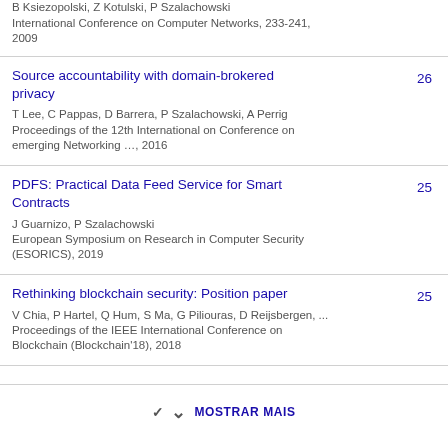B Ksiezopolski, Z Kotulski, P Szalachowski
International Conference on Computer Networks, 233-241, 2009
Source accountability with domain-brokered privacy
T Lee, C Pappas, D Barrera, P Szalachowski, A Perrig
Proceedings of the 12th International on Conference on emerging Networking …, 2016
26
PDFS: Practical Data Feed Service for Smart Contracts
J Guarnizo, P Szalachowski
European Symposium on Research in Computer Security (ESORICS), 2019
25
Rethinking blockchain security: Position paper
V Chia, P Hartel, Q Hum, S Ma, G Piliouras, D Reijsbergen, ...
Proceedings of the IEEE International Conference on Blockchain (Blockchain'18), 2018
25
MOSTRAR MAIS